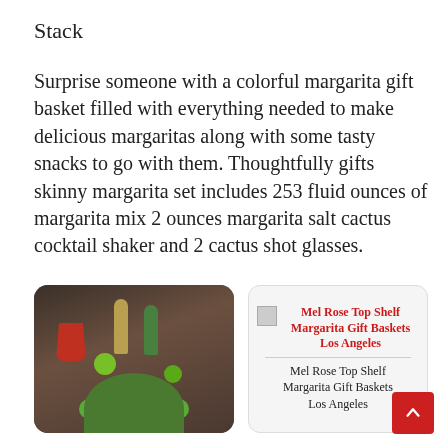Stack
Surprise someone with a colorful margarita gift basket filled with everything needed to make delicious margaritas along with some tasty snacks to go with them. Thoughtfully gifts skinny margarita set includes 253 fluid ounces of margarita mix 2 ounces margarita salt cactus cocktail shaker and 2 cactus shot glasses.
[Figure (photo): A colorful margarita gift basket with bottles, red cups, limes, and a green bow/ribbon at the base]
[Figure (screenshot): A card showing 'Mel Rose Top Shelf Margarita Gift Baskets Los Angeles' in red and black text with a small image thumbnail at the top left]